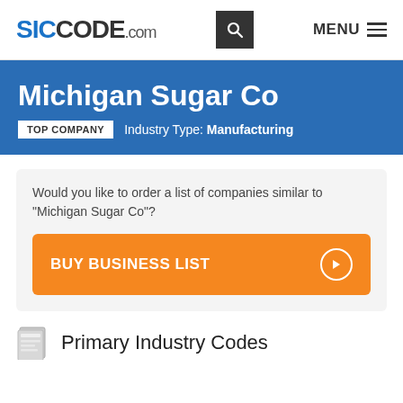SICCODE.com
Michigan Sugar Co
TOP COMPANY   Industry Type: Manufacturing
Would you like to order a list of companies similar to "Michigan Sugar Co"?
BUY BUSINESS LIST
Primary Industry Codes